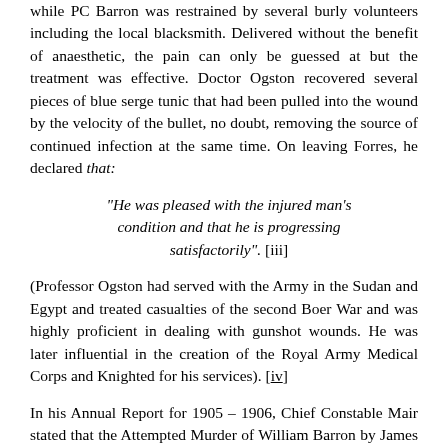while PC Barron was restrained by several burly volunteers including the local blacksmith. Delivered without the benefit of anaesthetic, the pain can only be guessed at but the treatment was effective. Doctor Ogston recovered several pieces of blue serge tunic that had been pulled into the wound by the velocity of the bullet, no doubt, removing the source of continued infection at the same time. On leaving Forres, he declared that:
"He was pleased with the injured man's condition and that he is progressing satisfactorily". [iii]
(Professor Ogston had served with the Army in the Sudan and Egypt and treated casualties of the second Boer War and was highly proficient in dealing with gunshot wounds. He was later influential in the creation of the Royal Army Medical Corps and Knighted for his services). [iv]
In his Annual Report for 1905 – 1906, Chief Constable Mair stated that the Attempted Murder of William Barron by James Craigie was the most serious offence to occur in the County during that period. PC Barron was off work for six months and the Chief was obliged to hire a Temporary Constable to cover part of the absence. He was able to report that William Barron had made a full recovery and eventually returned to duty in